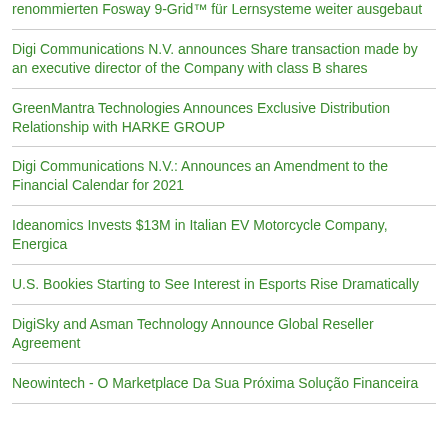renommierten Fosway 9-Grid™ für Lernsysteme weiter ausgebaut
Digi Communications N.V. announces Share transaction made by an executive director of the Company with class B shares
GreenMantra Technologies Announces Exclusive Distribution Relationship with HARKE GROUP
Digi Communications N.V.: Announces an Amendment to the Financial Calendar for 2021
Ideanomics Invests $13M in Italian EV Motorcycle Company, Energica
U.S. Bookies Starting to See Interest in Esports Rise Dramatically
DigiSky and Asman Technology Announce Global Reseller Agreement
Neowintech - O Marketplace Da Sua Próxima Solução Financeira